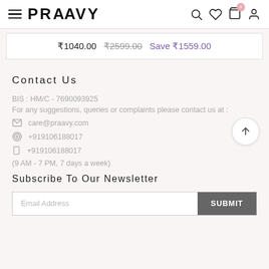PRAAVY
₹1040.00  ₹2599.00  Save ₹1559.00
Contact Us
BIS : HM/C - 7690093925
For any suggestions, queries or complaints please contact us at :
care@praavy.com
+919106188017
+919106188017
(9 AM - 7 PM, 7 days a week)
Subscribe To Our Newsletter
Email Address  SUBMIT